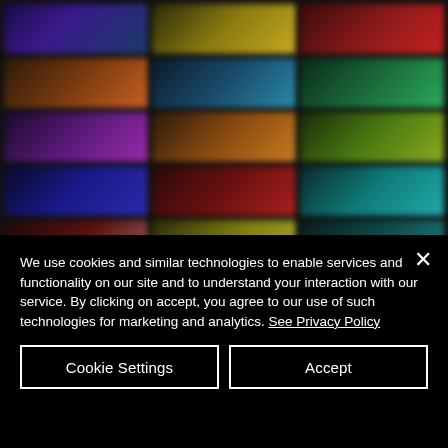[Figure (screenshot): Blurred grid of colorful online casino/game thumbnails arranged in 5 rows and 3 columns on a dark background.]
We use cookies and similar technologies to enable services and functionality on our site and to understand your interaction with our service. By clicking on accept, you agree to our use of such technologies for marketing and analytics. See Privacy Policy
Cookie Settings
Accept